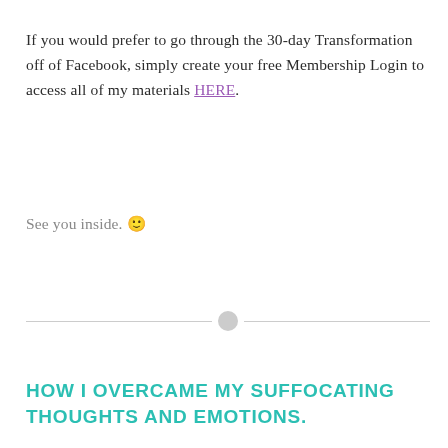If you would prefer to go through the 30-day Transformation off of Facebook, simply create your free Membership Login to access all of my materials HERE.
See you inside. 🙂
HOW I OVERCAME MY SUFFOCATING THOUGHTS AND EMOTIONS.